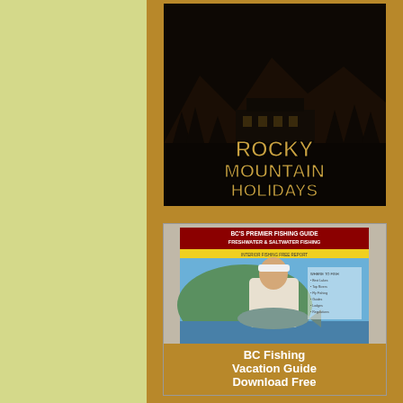[Figure (illustration): Rocky Mountain Holidays advertisement banner with dark forest/mountain background and golden text reading ROCKY MOUNTAIN HOLIDAYS]
[Figure (illustration): BC Fishing Vacation Guide advertisement showing a woman holding a large fish on a lake, with red header text 'BC's Premier Fishing Guide Freshwater & Saltwater Fishing']
BC Fishing Vacation Guide Download Free
time and time again, w... (because they were n... tide has conveniently together in a backedd...
When I first started fis... staying in contact with technique has been in... looms as probably the angler. So far this yea... have not been skunke...